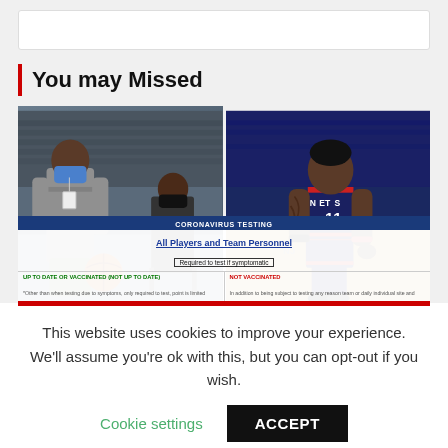[Figure (screenshot): White search bar area at top of webpage]
You may Missed
[Figure (photo): Two-panel image: left panel shows NBA player in gray hoodie with blue mask holding basketball, another person seated with black mask; right panel shows NBA player #11 in Brooklyn Nets uniform on court. Overlaid at bottom is a coronavirus testing policy banner showing rules for vaccinated and unvaccinated players and team personnel.]
This website uses cookies to improve your experience. We'll assume you're ok with this, but you can opt-out if you wish.
Cookie settings
ACCEPT